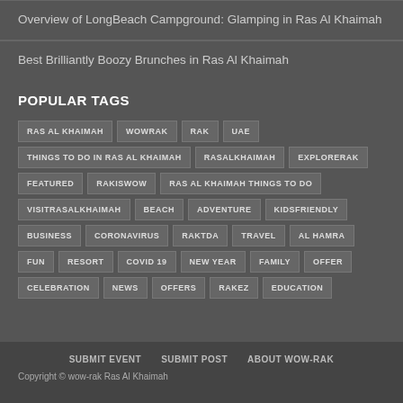Overview of LongBeach Campground: Glamping in Ras Al Khaimah
Best Brilliantly Boozy Brunches in Ras Al Khaimah
POPULAR TAGS
RAS AL KHAIMAH WOWRAK RAK UAE THINGS TO DO IN RAS AL KHAIMAH RASALKHAIMAH EXPLORERAK FEATURED RAKISWOW RAS AL KHAIMAH THINGS TO DO VISITRASALKHAIMAH BEACH ADVENTURE KIDSFRIENDLY BUSINESS CORONAVIRUS RAKTDA TRAVEL AL HAMRA FUN RESORT COVID 19 NEW YEAR FAMILY OFFER CELEBRATION NEWS OFFERS RAKEZ EDUCATION
SUBMIT EVENT   SUBMIT POST   ABOUT WOW-RAK
Copyright © wow-rak Ras Al Khaimah